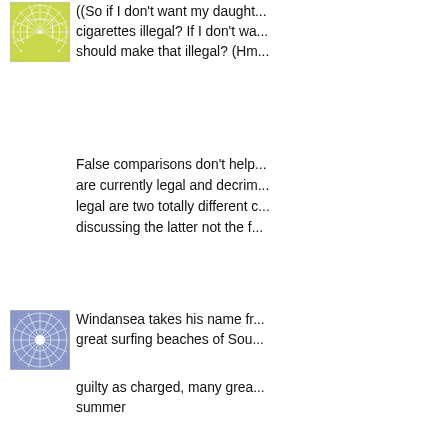[Figure (illustration): Green geometric mandala avatar icon]
((So if I don't want my daught... cigarettes illegal? If I don't wa... should make that illegal? (Hm...
False comparisons don't help... are currently legal and decrim... legal are two totally different c... discussing the latter not the f...
[Figure (illustration): Blue/purple geometric mandala avatar icon]
Windansea takes his name fr... great surfing beaches of Sou...
guilty as charged, many grea... summer
[Figure (illustration): Green geometric mandala avatar icon]
Hi Daddy
((Oh and BTW, Vodka over th... bottle.))
I wonder how much it costs t...